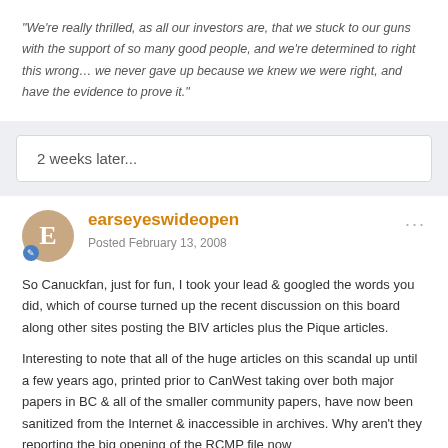"We're really thrilled, as all our investors are, that we stuck to our guns with the support of so many good people, and we're determined to right this wrong… we never gave up because we knew we were right, and have the evidence to prove it."
2 weeks later...
earseyeswideopen
Posted February 13, 2008
So Canuckfan, just for fun, I took your lead & googled the words you did, which of course turned up the recent discussion on this board along other sites posting the BIV articles plus the Pique articles.
Interesting to note that all of the huge articles on this scandal up until a few years ago, printed prior to CanWest taking over both major papers in BC & all of the smaller community papers, have now been sanitized from the Internet & inaccessible in archives. Why aren't they reporting the big opening of the RCMP file now